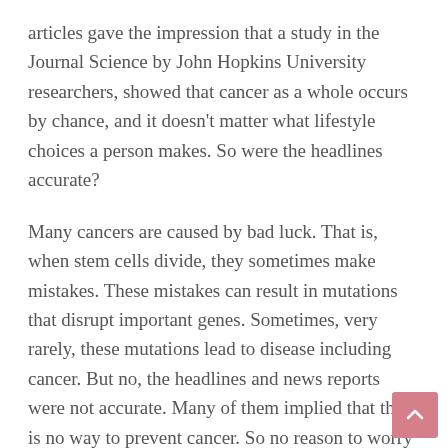articles gave the impression that a study in the Journal Science by John Hopkins University researchers, showed that cancer as a whole occurs by chance, and it doesn't matter what lifestyle choices a person makes. So were the headlines accurate?
Many cancers are caused by bad luck. That is, when stem cells divide, they sometimes make mistakes. These mistakes can result in mutations that disrupt important genes. Sometimes, very rarely, these mutations lead to disease including cancer. But no, the headlines and news reports were not accurate. Many of them implied that there is no way to prevent cancer. So no reason to worry if you smoke a pack a day, are obese or spend hours roasting yourself in a tanning bed.
According to the American Association of Cancer